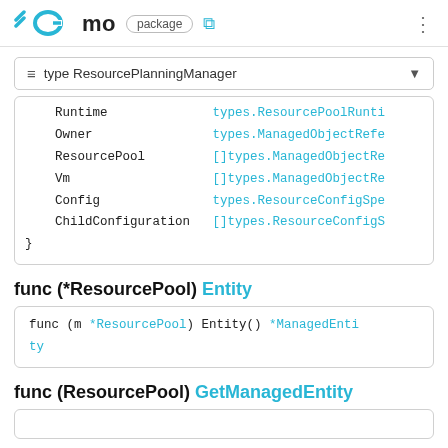GO mo package
type ResourcePlanningManager
Runtime    types.ResourcePoolRunti
Owner      types.ManagedObjectRefe
ResourcePool  []types.ManagedObjectRe
Vm         []types.ManagedObjectRe
Config     types.ResourceConfigSpe
ChildConfiguration []types.ResourceConfigS
}
func (*ResourcePool) Entity
func (m *ResourcePool) Entity() *ManagedEntity
func (ResourcePool) GetManagedEntity